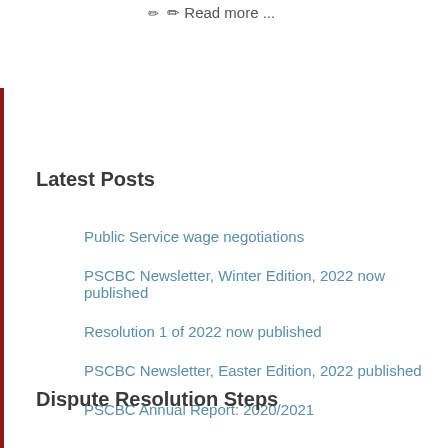✏ Read more ...
Latest Posts
Public Service wage negotiations
PSCBC Newsletter, Winter Edition, 2022 now published
Resolution 1 of 2022 now published
PSCBC Newsletter, Easter Edition, 2022 published
PSCBC Annual Report: 2020/2021
Dispute Resolution Steps